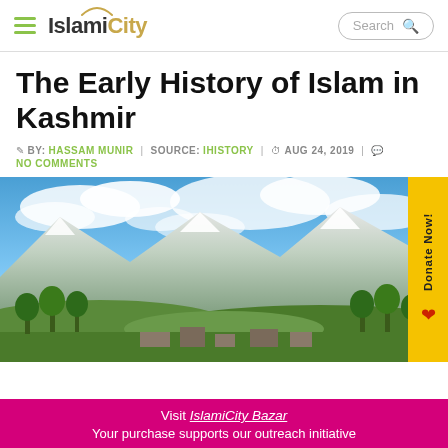[Figure (screenshot): IslamiCity website header with hamburger menu, logo, and search box]
The Early History of Islam in Kashmir
BY: HASSAM MUNIR  SOURCE: IHISTORY  AUG 24, 2019  NO COMMENTS
[Figure (photo): Scenic landscape photo of Kashmir valley with snow-capped mountains, green trees, and blue cloudy sky]
Visit IslamiCity Bazar
Your purchase supports our outreach initiative